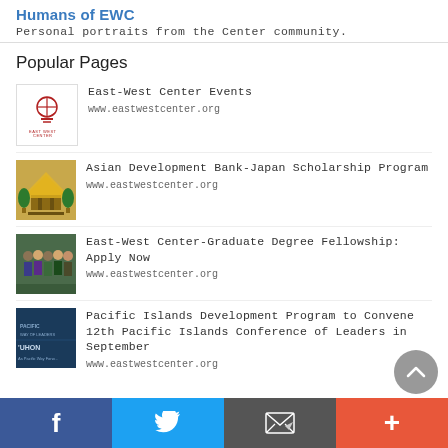Humans of EWC
Personal portraits from the Center community.
Popular Pages
East-West Center Events
www.eastwestcenter.org
Asian Development Bank-Japan Scholarship Program
www.eastwestcenter.org
East-West Center-Graduate Degree Fellowship: Apply Now
www.eastwestcenter.org
Pacific Islands Development Program to Convene 12th Pacific Islands Conference of Leaders in September
www.eastwestcenter.org